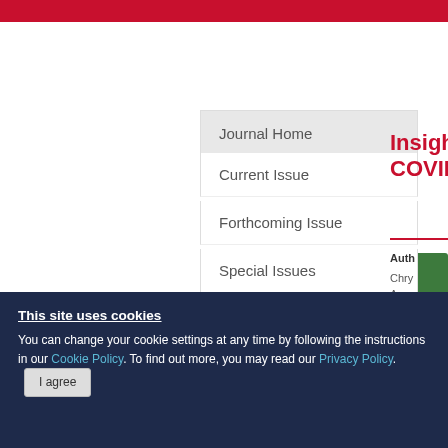Journal Home
Current Issue
Forthcoming Issue
Special Issues
Most Read
Most Cited (Dimensions)
Most Cited (CrossRef)
Social Media
Insigh COVID
Authors
Chry
Anna
View
Published
Need help?
This site uses cookies
You can change your cookie settings at any time by following the instructions in our Cookie Policy. To find out more, you may read our Privacy Policy. I agree